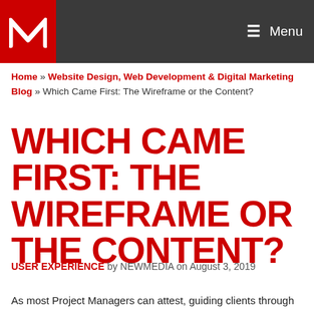Menu
Home » Website Design, Web Development & Digital Marketing Blog » Which Came First: The Wireframe or the Content?
WHICH CAME FIRST: THE WIREFRAME OR THE CONTENT?
USER EXPERIENCE by NEWMEDIA on August 3, 2019
As most Project Managers can attest, guiding clients through